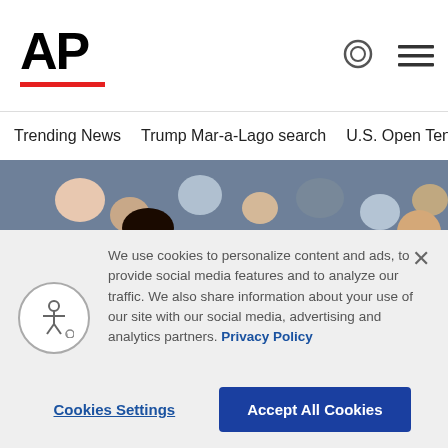AP
Trending News
Trump Mar-a-Lago search
U.S. Open Tennis
[Figure (photo): Serena Williams shaking hands with opponent after a tennis match at the U.S. Open, with crowd in background]
We use cookies to personalize content and ads, to provide social media features and to analyze our traffic. We also share information about your use of our site with our social media, advertising and analytics partners. Privacy Policy
Cookies Settings
Accept All Cookies